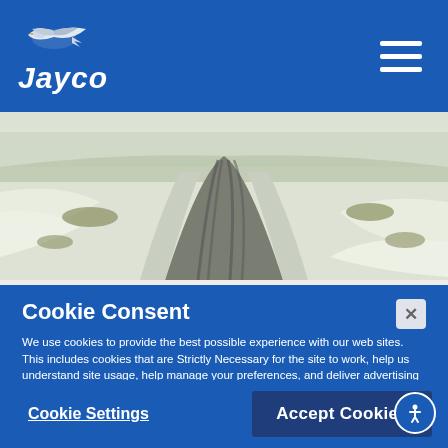Jayco
[Figure (photo): Snow-covered road with tire tracks receding into the distance, winter landscape on both sides]
This trip was challenging with the long distances, northern isolation, poor roads, and most of the time a total lack of
Cookie Consent
We use cookies to provide the best possible experience with our web sites. This includes cookies that are Strictly Necessary for the site to work, help us understand site usage, help manage your preferences, and deliver advertising relevant to your interests. You can update the behavior of our cookies by selecting “Cookie Settings.”
Cookie Settings
Accept Cookies